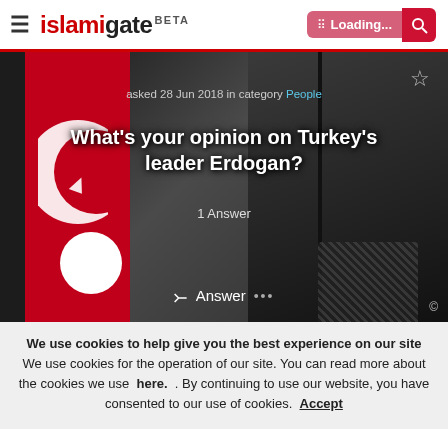islamiqate BETA — Loading...
[Figure (photo): Hero image showing two framed portraits against a Turkish flag background. Left portrait appears to be Ataturk in military uniform, right portrait is Erdogan. Overlay text shows question about Turkey's leader Erdogan with 1 Answer, asked 28 Jun 2018 in category People. Answer button visible at bottom.]
We use cookies to help give you the best experience on our site
We use cookies for the operation of our site. You can read more about the cookies we use  here.  . By continuing to use our website, you have consented to our use of cookies.  Accept